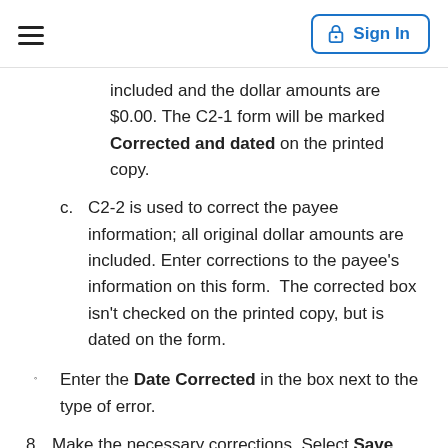Sign In
included and the dollar amounts are $0.00. The C2-1 form will be marked Corrected and dated on the printed copy.
c. C2-2 is used to correct the payee information; all original dollar amounts are included. Enter corrections to the payee's information on this form.  The corrected box isn't checked on the printed copy, but is dated on the form.
Enter the Date Corrected in the box next to the type of error.
8. Make the necessary corrections. Select Save